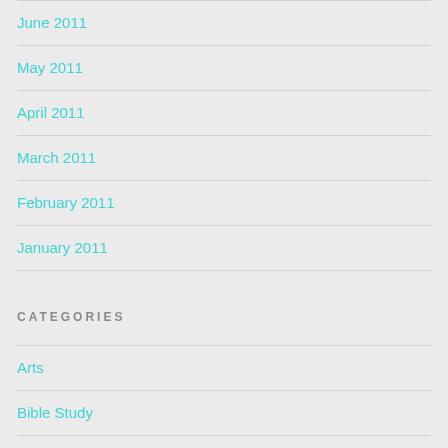June 2011
May 2011
April 2011
March 2011
February 2011
January 2011
CATEGORIES
Arts
Bible Study
Destiny
Devotions